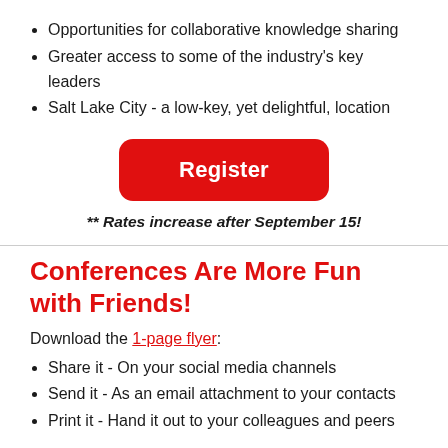Opportunities for collaborative knowledge sharing
Greater access to some of the industry's key leaders
Salt Lake City - a low-key, yet delightful, location
[Figure (other): Red rounded rectangle button with white bold text 'Register']
** Rates increase after September 15!
Conferences Are More Fun with Friends!
Download the 1-page flyer:
Share it - On your social media channels
Send it - As an email attachment to your contacts
Print it - Hand it out to your colleagues and peers